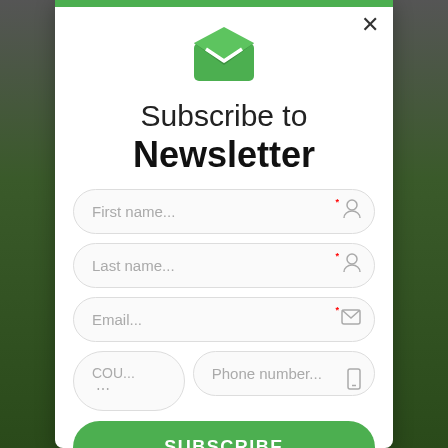[Figure (screenshot): Newsletter subscription modal dialog with green top bar, envelope icon, title 'Subscribe to Newsletter', input fields for First name, Last name, Email, country code and Phone number, and a green SUBSCRIBE button]
Subscribe to Newsletter
First name...
Last name...
Email...
COU... ...
Phone number...
SUBSCRIBE